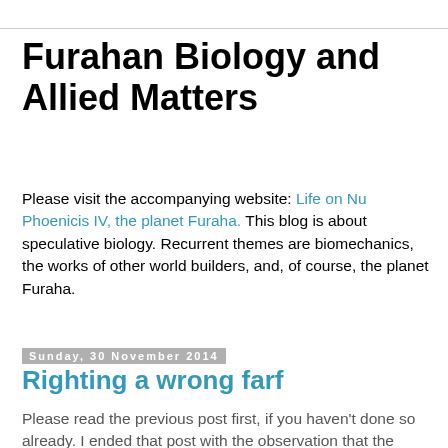Furahan Biology and Allied Matters
Please visit the accompanying website: Life on Nu Phoenicis IV, the planet Furaha. This blog is about speculative biology. Recurrent themes are biomechanics, the works of other world builders, and, of course, the planet Furaha.
Sunday, 30 November 2014
Righting a wrong farf
Please read the previous post first, if you haven't done so already. I ended that post with the observation that the wings might bend in the wrong direction. To see whether the opposite looked better, I inverted the warping of the wing and decreased its amplitude as well.
So here is the same farf but with wings that flex the other